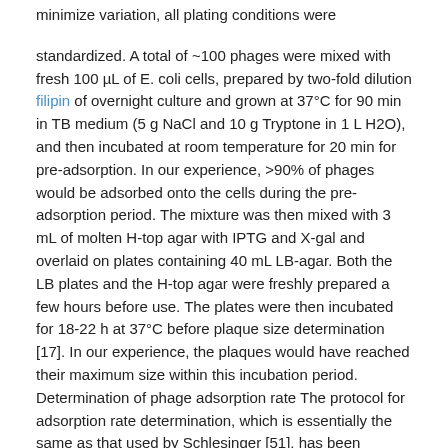minimize variation, all plating conditions were standardized. A total of ~100 phages were mixed with fresh 100 µL of E. coli cells, prepared by two-fold dilution filipin of overnight culture and grown at 37°C for 90 min in TB medium (5 g NaCl and 10 g Tryptone in 1 L H2O), and then incubated at room temperature for 20 min for pre-adsorption. In our experience, >90% of phages would be adsorbed onto the cells during the pre-adsorption period. The mixture was then mixed with 3 mL of molten H-top agar with IPTG and X-gal and overlaid on plates containing 40 mL LB-agar. Both the LB plates and the H-top agar were freshly prepared a few hours before use. The plates were then incubated for 18-22 h at 37°C before plaque size determination [17]. In our experience, the plaques would have reached their maximum size within this incubation period. Determination of phage adsorption rate The protocol for adsorption rate determination, which is essentially the same as that used by Schlesinger [51], has been described previously [17]. Briefly, ~4.5 × 104 phages were mixed with 10 mL of E. coli XL1 Blue